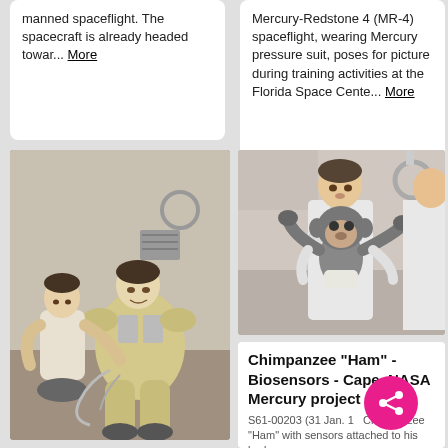manned spaceflight. The spacecraft is already headed towar... More
Mercury-Redstone 4 (MR-4) spaceflight, wearing Mercury pressure suit, poses for picture during training activities at the Florida Space Cente... More
[Figure (photo): Black and white photo of two men, one kneeling helping another person in a silver space suit with equipment]
[Figure (photo): Black and white photo of a man in a white lab coat holding a chimpanzee, with another person partially visible on the right]
Chimpanzee "Ham" - Biosensors - Cape, NASA Mercury project
S61-00203 (31 Jan. 1... Chimpanzee "Ham" with sensors attached to his body